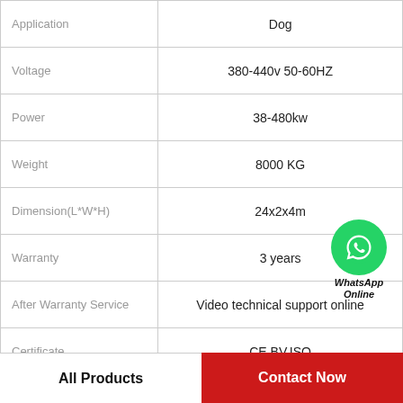|  |  |
| --- | --- |
| Application | Dog |
| Voltage | 380-440v 50-60HZ |
| Power | 38-480kw |
| Weight | 8000 KG |
| Dimension(L*W*H) | 24x2x4m |
| Warranty | 3 years |
| After Warranty Service | Video technical support online |
| Certificate | CE,BV,ISO |
[Figure (logo): WhatsApp Online green phone icon badge]
All Products
Contact Now